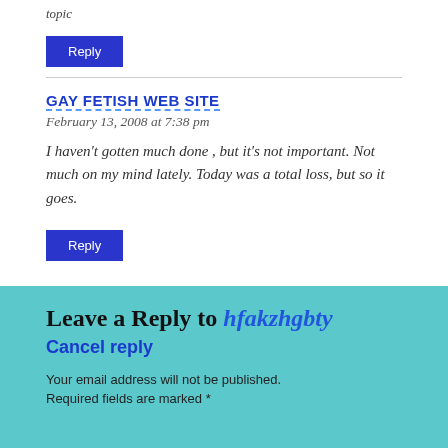topic
Reply
GAY FETISH WEB SITE
February 13, 2008 at 7:38 pm
I haven't gotten much done , but it's not important. Not much on my mind lately. Today was a total loss, but so it goes.
Reply
Leave a Reply to hfakzhgbty
Cancel reply
Your email address will not be published. Required fields are marked *